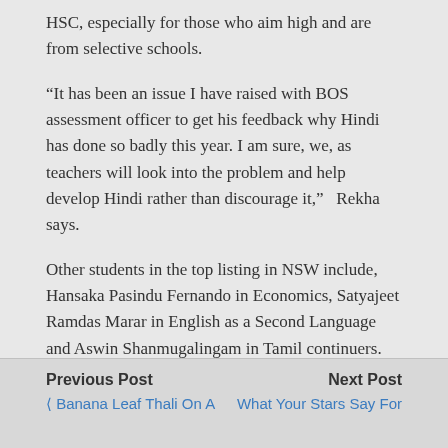HSC, especially for those who aim high and are from selective schools.
“It has been an issue I have raised with BOS assessment officer to get his feedback why Hindi has done so badly this year. I am sure, we, as teachers will look into the problem and help develop Hindi rather than discourage it,”   Rekha says.
Other students in the top listing in NSW include, Hansaka Pasindu Fernando in Economics, Satyajeet Ramdas Marar in English as a Second Language and Aswin Shanmugalingam in Tamil continuers.
Previous Post
‹ Banana Leaf Thali On A
Next Post
What Your Stars Say For